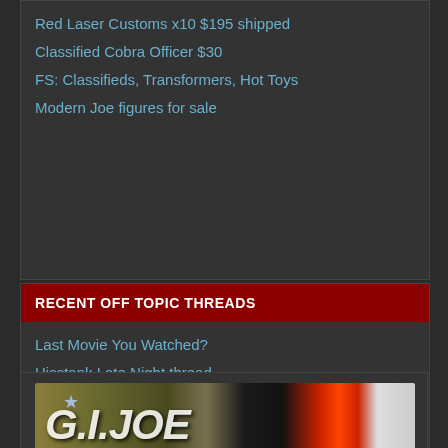Red Laser Customs x10 $195 shipped
Classified Cobra Officer $30
FS: Classifieds, Transformers, Hot Toys
Modern Joe figures for sale
RECENT OFF TOPIC THREADS
Last Movie You Watched?
Hisstank Late Night thread...
What song are you listening to?
Super Powers Retro by McFarlane Toys
JazWares 18th Halo
[Figure (illustration): G.I. Joe banner image with camo pattern and action figure explosion graphic]
All times are GMT -4. The time now is 9:34 AM.